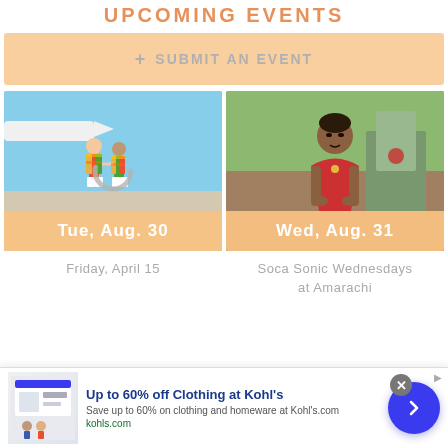UPCOMING EVENTS
+ SUBMIT AN EVENT
[Figure (photo): Two children roller skating holding hands outdoors near a plane, wearing striped shirts. Overlaid with date 'Tue, Aug. 30' and a loading spinner.]
[Figure (photo): Young woman in a red top outdoors in an urban setting. Overlaid with date 'Wed, Aug. 31'.]
Friday, April 15
Soca Sonic Wednesdays at Amarachi
[Figure (infographic): Advertisement banner: Up to 60% off Clothing at Kohl's. Save up to 60% on clothing and homeware at Kohl's.com. kohls.com. Navigation arrow button. Close button.]